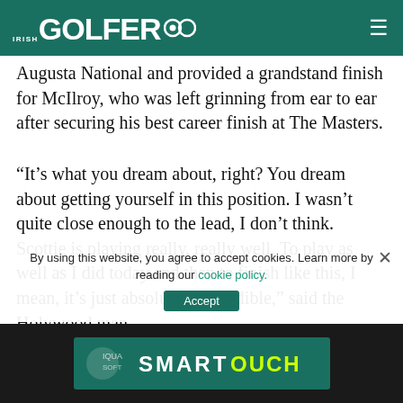Irish Golfer
Augusta National and provided a grandstand finish for McIlroy, who was left grinning from ear to ear after securing his best career finish at The Masters.
“It’s what you dream about, right? You dream about getting yourself in this position. I wasn’t quite close enough to the lead, I don’t think. Scottie is playing really, really well. To play as well as I did today and then to finish like this, I mean, it’s just absolutely incredible,” said the Holywood man.
“This tournament never ceases to amaze. Yeah, that’s as happy as I’ve ever been on a golf course right there. Just having a chance, and then with Collin, we both played so well all day, and for both of us to finish like this, I was just so happy for him too.
By using this website, you agree to accept cookies. Learn more by reading our cookie policy.
[Figure (other): SmartTouch advertisement banner]